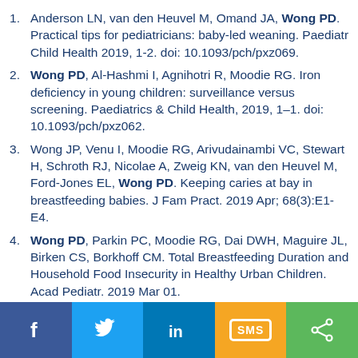Anderson LN, van den Heuvel M, Omand JA, Wong PD. Practical tips for pediatricians: baby-led weaning. Paediatr Child Health 2019, 1-2. doi: 10.1093/pch/pxz069.
Wong PD, Al-Hashmi I, Agnihotri R, Moodie RG. Iron deficiency in young children: surveillance versus screening. Paediatrics & Child Health, 2019, 1–1. doi: 10.1093/pch/pxz062.
Wong JP, Venu I, Moodie RG, Arivudainambi VC, Stewart H, Schroth RJ, Nicolae A, Zweig KN, van den Heuvel M, Ford-Jones EL, Wong PD. Keeping caries at bay in breastfeeding babies. J Fam Pract. 2019 Apr; 68(3):E1-E4.
Wong PD, Parkin PC, Moodie RG, Dai DWH, Maguire JL, Birken CS, Borkhoff CM. Total Breastfeeding Duration and Household Food Insecurity in Healthy Urban Children. Acad Pediatr. 2019 Mar 01.
f  [twitter]  in  SMS  [share]